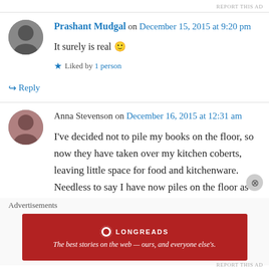REPORT THIS AD
Prashant Mudgal on December 15, 2015 at 9:20 pm
It surely is real 🙂
★ Liked by 1 person
↳ Reply
Anna Stevenson on December 16, 2015 at 12:31 am
I've decided not to pile my books on the floor, so now they have taken over my kitchen coberts, leaving little space for food and kitchenware. Needless to say I have now piles on the floor as
Advertisements
[Figure (other): Longreads advertisement banner - red background with Longreads logo and tagline: The best stories on the web — ours, and everyone else's.]
REPORT THIS AD